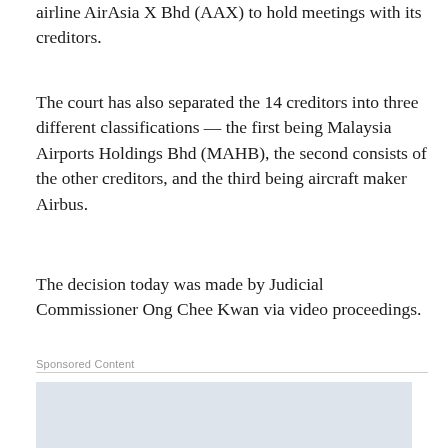airline AirAsia X Bhd (AAX) to hold meetings with its creditors.
The court has also separated the 14 creditors into three different classifications — the first being Malaysia Airports Holdings Bhd (MAHB), the second consists of the other creditors, and the third being aircraft maker Airbus.
The decision today was made by Judicial Commissioner Ong Chee Kwan via video proceedings.
Sponsored Content
[Figure (photo): Blurred/placeholder sponsored content image]